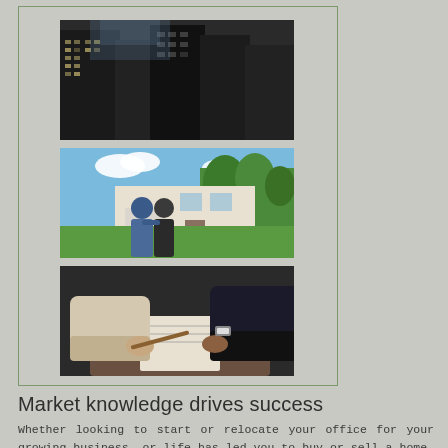[Figure (photo): Three stacked photos inside a green-bordered box on a gray background. Top: looking up at skyscrapers. Middle: couple viewing a suburban home from behind. Bottom: business people exchanging documents at a meeting table.]
Market knowledge drives success
Whether looking to start or relocate your office for your growing business, or life has led you to buy or sell a home, our team of